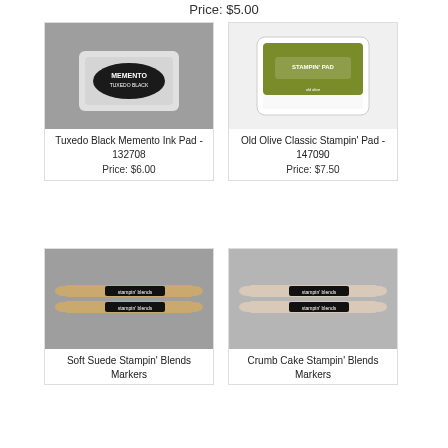Price: $5.00
[Figure (photo): Tuxedo Black Memento Ink Pad product photo on gray background]
Tuxedo Black Memento Ink Pad - 132708
Price: $6.00
[Figure (photo): Old Olive Classic Stampin' Pad product photo on white background]
Old Olive Classic Stampin' Pad - 147090
Price: $7.50
[Figure (photo): Soft Suede Stampin' Blends Markers product photo on gray background]
Soft Suede Stampin' Blends Markers
[Figure (photo): Crumb Cake Stampin' Blends Markers product photo on gray background]
Crumb Cake Stampin' Blends Markers